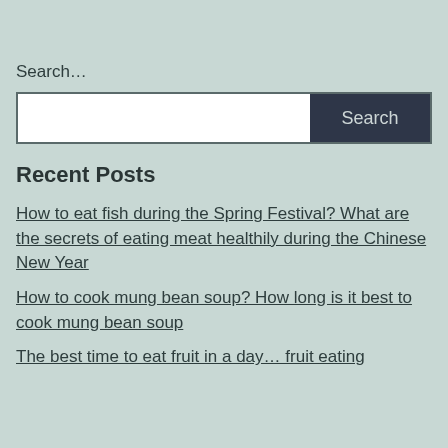Search…
[Figure (other): Search input box with a white text field and a dark navy Search button]
Recent Posts
How to eat fish during the Spring Festival? What are the secrets of eating meat healthily during the Chinese New Year
How to cook mung bean soup? How long is it best to cook mung bean soup
The best time to eat fruit in a day… fruit eating